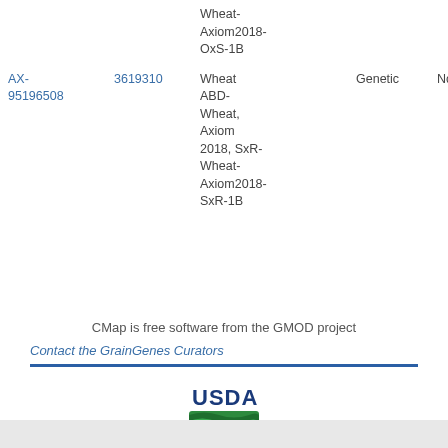| ID | Number | Map | Type | Evidence | Method |
| --- | --- | --- | --- | --- | --- |
| (partial) |  | Wheat-Axiom2018-OxS-1B |  |  |  |
| AX-95196508 | 3619310 | Wheat ABD-Wheat, Axiom 2018, SxR-Wheat-Axiom2018-SxR-1B | Genetic | None | Automated name-base... |
CMap is free software from the GMOD project
Contact the GrainGenes Curators
[Figure (logo): USDA logo with blue text USDA and green field graphic]
GrainGenes is a product of the US Department of Agriculture.